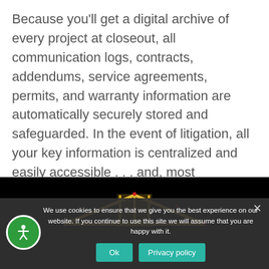Because you'll get a digital archive of every project at closeout, all communication logs, contracts, addendums, service agreements, permits, and warranty information are automatically securely stored and safeguarded. In the event of litigation, all your key information is centralized and easily accessible . . . and, most importantly, entirely owned by you.
[Figure (photo): Dark night-time photograph showing a glowing house/building outline roof structure illuminated with warm yellow/orange light against a black sky, with small red lights visible.]
We use cookies to ensure that we give you the best experience on our website. If you continue to use this site we will assume that you are happy with it.